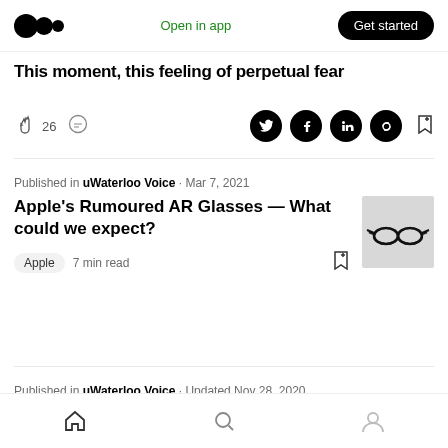Medium logo | Open in app | Get started
This moment, this feeling of perpetual fear
26 claps | comment | Twitter | Facebook | LinkedIn | Link | Bookmark
Published in uWaterloo Voice · Mar 7, 2021
Apple's Rumoured AR Glasses — What could we expect?
Apple  7 min read
Published in uWaterloo Voice · Updated Nov 28, 2020
The Cries of Man
Home | Search | Profile